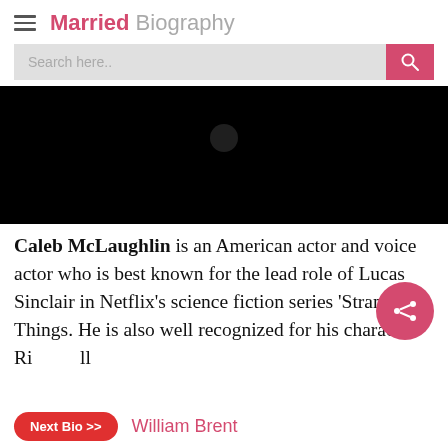Married Biography
[Figure (screenshot): Search bar with pink search button on gray background]
[Figure (photo): Black hero image area for Caleb McLaughlin biography]
Caleb McLaughlin is an American actor and voice actor who is best known for the lead role of Lucas Sinclair in Netflix's science fiction series 'Stranger Things. He is also well recognized for his character Rich-Roller the enter actor 'The N...
[Figure (other): Pink share button (circular) with share icon]
Next Bio >> William Brent